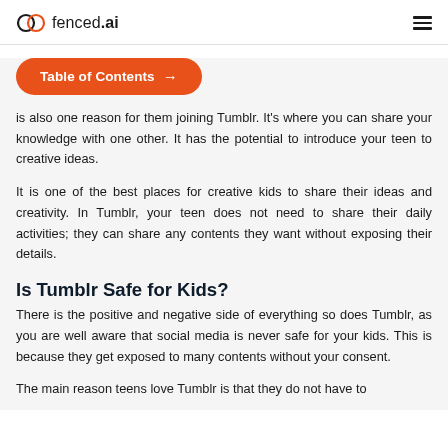fenced.ai
[Figure (other): Table of Contents button with orange rounded background and arrow icon]
is also one reason for them joining Tumblr. It's where you can share your knowledge with one other. It has the potential to introduce your teen to creative ideas.
It is one of the best places for creative kids to share their ideas and creativity. In Tumblr, your teen does not need to share their daily activities; they can share any contents they want without exposing their details.
Is Tumblr Safe for Kids?
There is the positive and negative side of everything so does Tumblr, as you are well aware that social media is never safe for your kids. This is because they get exposed to many contents without your consent.
The main reason teens love Tumblr is that they do not have to